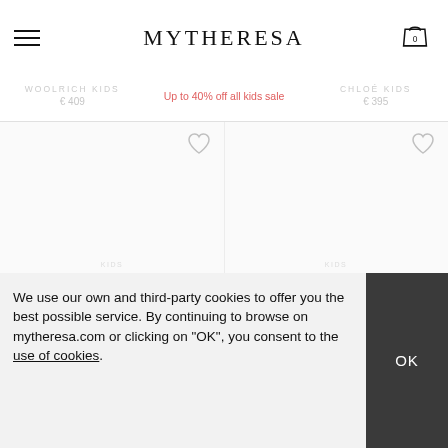MYTHERESA
WOOLRICH KIDS € 409  Up to 40% off all kids sale  CHLOÉ KIDS € 395
[Figure (screenshot): Two product image placeholders side by side with heart/wishlist icons, part of a fashion e-commerce product listing grid]
We use our own and third-party cookies to offer you the best possible service. By continuing to browse on mytheresa.com or clicking on "OK", you consent to the use of cookies.